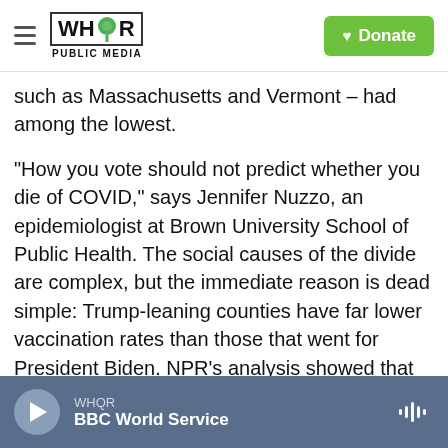WHQR PUBLIC MEDIA | Donate
such as Massachusetts and Vermont – had among the lowest.
"How you vote should not predict whether you die of COVID," says Jennifer Nuzzo, an epidemiologist at Brown University School of Public Health. The social causes of the divide are complex, but the immediate reason is dead simple: Trump-leaning counties have far lower vaccination rates than those that went for President Biden. NPR's analysis showed that the gap was 21 points, with 81% of adults vaccinated in heavily-Biden counties compared to 60% of adults in counties that went for
WHQR | BBC World Service